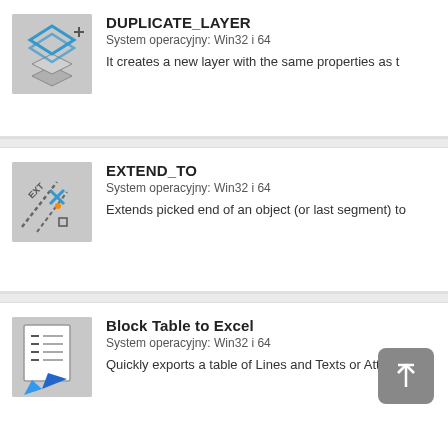[Figure (illustration): Icon for DUPLICATE_LAYER command showing stacked blue diamond shapes with a plus sign]
DUPLICATE_LAYER
System operacyjny: Win32 i 64
It creates a new layer with the same properties as t
[Figure (illustration): Icon for EXTEND_TO command showing lines with EXT label and a crosshair]
EXTEND_TO
System operacyjny: Win32 i 64
Extends picked end of an object (or last segment) to
[Figure (illustration): Icon for Block Table to Excel command showing a document with list and blue arrow]
Block Table to Excel
System operacyjny: Win32 i 64
Quickly exports a table of Lines and Texts or Attribut
[Figure (illustration): Icon for PASTE_CLIPBOARD_TEXT command showing a clipboard with ABC text]
PASTE_CLIPBOARD_TEXT
System operacyjny: Win32 i 64
Inserts text from the clipboard to the selected TEXT